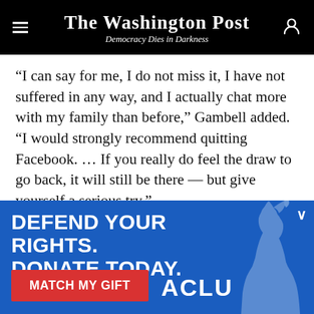The Washington Post — Democracy Dies in Darkness
“I can say for me, I do not miss it, I have not suffered in any way, and I actually chat more with my family than before,” Gambell added. “I would strongly recommend quitting Facebook. … If you really do feel the draw to go back, it will still be there — but give yourself a serious try.”
Correction: A previous version of this story
[Figure (infographic): ACLU advertisement banner on blue background reading 'DEFEND YOUR RIGHTS. DONATE TODAY.' with a red 'MATCH MY GIFT' button, ACLU logo, and Statue of Liberty torch graphic on the right side.]